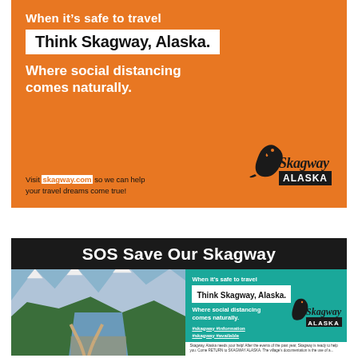[Figure (infographic): Skagway Alaska travel advertisement on orange background. Text: 'When it's safe to travel', 'Think Skagway, Alaska.', 'Where social distancing comes naturally.', 'Visit skagway.com so we can help your travel dreams come true!' with Skagway Alaska logo.]
[Figure (infographic): SOS Save Our Skagway advertisement. Black header bar with 'SOS Save Our Skagway'. Left side shows aerial photo of Skagway Alaska. Right side on teal background: 'When it's safe to travel', 'Think Skagway, Alaska.', 'Where social distancing comes naturally.', Skagway Alaska logo, visit skagway.com text, and small body text about Skagway Alaska.]